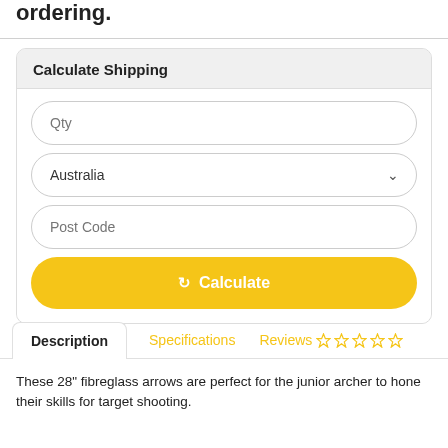ordering.
Calculate Shipping
Qty
Australia
Post Code
Calculate
Description
Specifications
Reviews ☆☆☆☆☆
These 28" fibreglass arrows are perfect for the junior archer to hone their skills for target shooting.